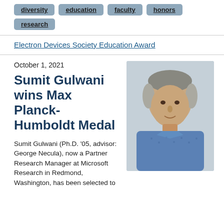diversity
education
faculty
honors
research
Electron Devices Society Education Award
October 1, 2021
Sumit Gulwani wins Max Planck-Humboldt Medal
[Figure (photo): Headshot of Sumit Gulwani, a man with gray-streaked hair wearing a blue patterned shirt, photographed against a gray background.]
Sumit Gulwani (Ph.D. '05, advisor: George Necula), now a Partner Research Manager at Microsoft Research in Redmond, Washington, has been selected to